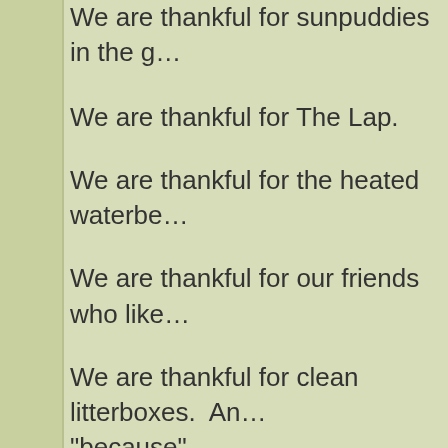We are thankful for sunpuddies in the g…
We are thankful for The Lap.
We are thankful for the heated waterbe…
We are thankful for our friends who like…
We are thankful for clean litterboxes.  An… "because".
We are thankful for tossed treats.  Any c…
We are thankful for…